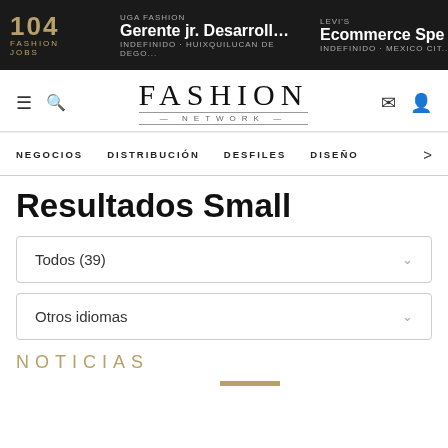104 FASHION JOBS | UGA FASHION — Gerente jr. Desarrollo ... INDEFINIDO · HUIXQUILUCAN DE DEGO... | LEVI'S — Ecommerce Spe... INDEFINIDO · MEXICO CIT...
[Figure (logo): FASHION NETWORK logo with decorative lines]
NEGOCIOS   DISTRIBUCIÓN   DESFILES   DISEÑO   >
Resultados Small
Todos (39)
Otros idiomas
NOTICIAS